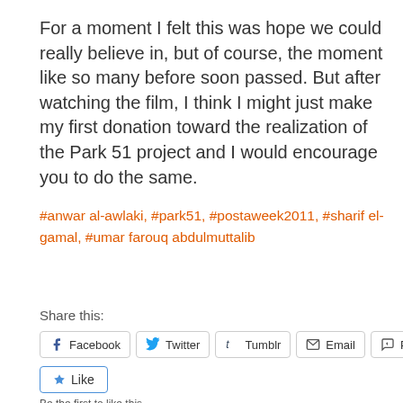For a moment I felt this was hope we could really believe in, but of course, the moment like so many before soon passed. But after watching the film, I think I might just make my first donation toward the realization of the Park 51 project and I would encourage you to do the same.
#anwar al-awlaki, #park51, #postaweek2011, #sharif el-gamal, #umar farouq abdulmuttalib
Share this:
[Figure (other): Share buttons: Facebook, Twitter, Tumblr, Email, Pocket]
[Figure (other): Like button with star icon and 'Be the first to like this.' text below]